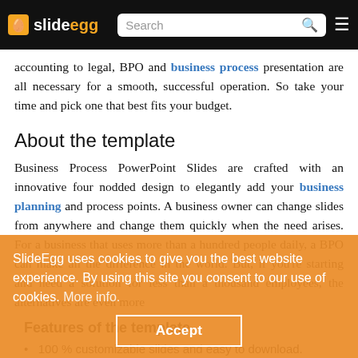slideegg [logo] Search [menu]
accounting to legal, BPO and business process presentation are all necessary for a smooth, successful operation. So take your time and pick one that best fits your budget.
About the template
Business Process PowerPoint Slides are crafted with an innovative four nodded design to elegantly add your business planning and process points. A business owner can change slides from anywhere and change them quickly when the need arises. For a business that uses more than a hundred people daily, a BPO can make all the difference in the world. But, if you're starting and need a solution for less than a thousand employees, the alternatives are even more
Features of the template
100 % customizable slides and easy to download.
SlideEgg uses cookies to give you the best website experience. By using this site you consent to our use of cookies. More info. Accept